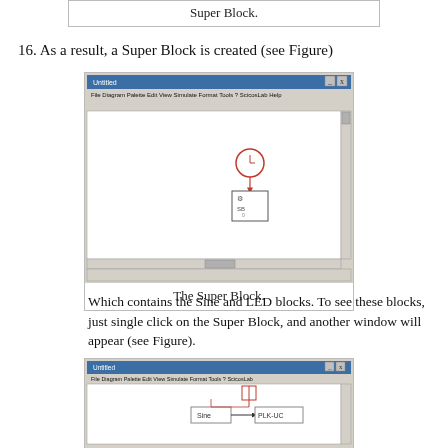Super Block.
16. As a result, a Super Block is created (see Figure)
[Figure (screenshot): A Scicos/ScicosLab simulation window showing a Super Block diagram with a clock block connected by an arrow to a Super Block icon.]
The Super Block.
Which contains the Sine and LED blocks. To see these blocks, just single click on the Super Block, and another window will appear (see Figure).
[Figure (screenshot): A Scicos/ScicosLab simulation window showing the contents of the Super Block, with a Sine block connected to a PLK-UC block, both driven by a clock source block.]